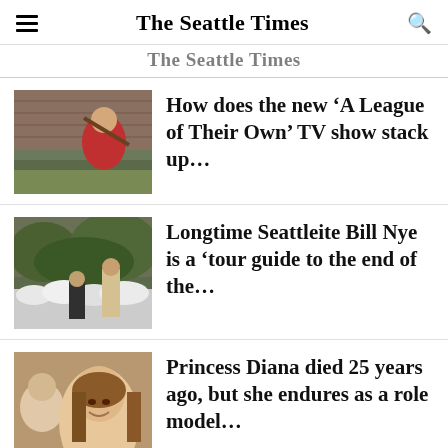The Seattle Times
The Seattle Times
[Figure (photo): Woman in red top swinging a baseball bat outdoors near a brick wall]
How does the new ‘A League of Their Own’ TV show stack up…
[Figure (photo): Man in suit at an outdoor event with white floral arrangements and trees in background]
Longtime Seattleite Bill Nye is a ‘tour guide to the end of the…
[Figure (photo): Young woman with brown hair smiling, with an older woman visible in background]
Princess Diana died 25 years ago, but she endures as a role model…